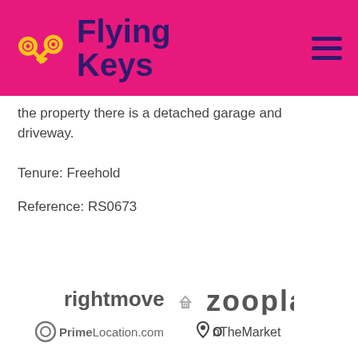[Figure (logo): Flying Keys logo with yellow crossed keys icon and magenta/pink header background, hamburger menu icon top right]
the property there is a detached garage and driveway.
Tenure: Freehold
Reference: RS0673
[Figure (logo): Partner portal logos: rightmove, Zoopla, PrimeLocation.com, OnTheMarket]